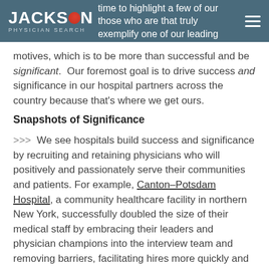Jackson Physician Search — take time to highlight a few of our // those who are that truly exemplify one of our leading
motives, which is to be more than successful and be significant. Our foremost goal is to drive success and significance in our hospital partners across the country because that's where we get ours.
Snapshots of Significance
>>> We see hospitals build success and significance by recruiting and retaining physicians who will positively and passionately serve their communities and patients. For example, Canton–Potsdam Hospital, a community healthcare facility in northern New York, successfully doubled the size of their medical staff by embracing their leaders and physician champions into the interview team and removing barriers, facilitating hires more quickly and with greater matching precision. Under the direction of Carlos Alberto, Assistant VP of Medical Staff & Business Dev...